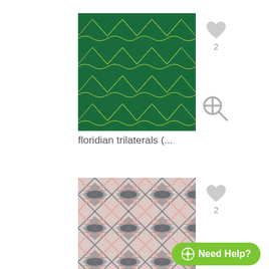[Figure (illustration): Dark green repeating triangular/wave pattern (floridian trilaterals) with light yellow-green outline triangles on green background]
[Figure (illustration): Heart icon (gray/unfilled) with count 2 below it, next to first pattern]
[Figure (illustration): Zoom/magnify icon (gray) next to first pattern]
floridian trilaterals (...
[Figure (illustration): Pink, gray, and white geometric star/triangle repeating pattern]
[Figure (illustration): Heart icon (gray/unfilled) with count 2 below it, next to second pattern]
Need Help?